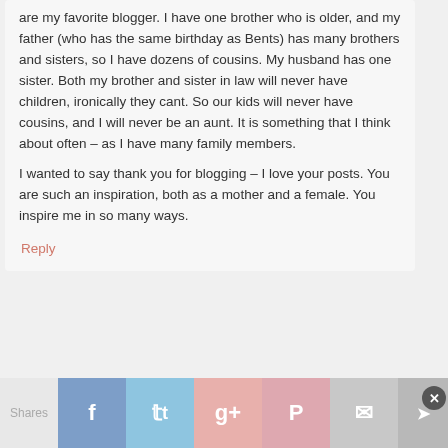are my favorite blogger. I have one brother who is older, and my father (who has the same birthday as Bents) has many brothers and sisters, so I have dozens of cousins. My husband has one sister. Both my brother and sister in law will never have children, ironically they cant. So our kids will never have cousins, and I will never be an aunt. It is something that I think about often – as I have many family members.
I wanted to say thank you for blogging – I love your posts. You are such an inspiration, both as a mother and a female. You inspire me in so many ways.
Reply